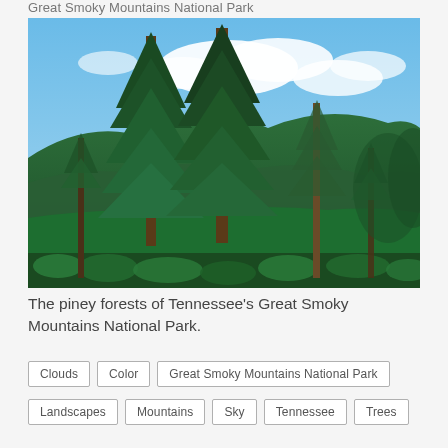Great Smoky Mountains National Park
[Figure (photo): Photograph of tall pine trees in the foreground with lush green forested mountain slopes in the background and a partly cloudy blue sky, taken at Great Smoky Mountains National Park, Tennessee.]
The piney forests of Tennessee's Great Smoky Mountains National Park.
Clouds
Color
Great Smoky Mountains National Park
Landscapes
Mountains
Sky
Tennessee
Trees